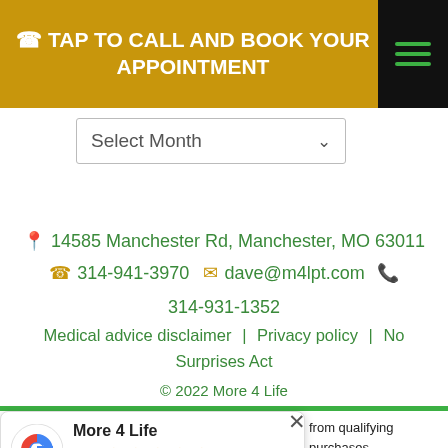☎ TAP TO CALL AND BOOK YOUR APPOINTMENT
Select Month
📍 14585 Manchester Rd, Manchester, MO 63011 ☎ 314-941-3970 ✉ dave@m4lpt.com 📠 314-931-1352
Medical advice disclaimer | Privacy policy | No Surprises Act
© 2022 More 4 Life
[Figure (infographic): Google review popup showing More 4 Life with 5.0 rating based on 98 reviews, with green rating bar at top]
from qualifying purchases. sclosure.